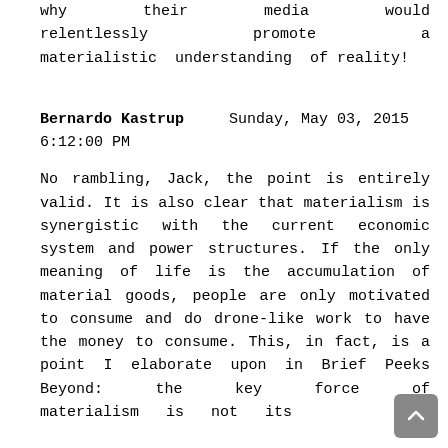why their media would relentlessly promote a materialistic understanding of reality!
Bernardo Kastrup      Sunday, May 03, 2015 6:12:00 PM
No rambling, Jack, the point is entirely valid. It is also clear that materialism is synergistic with the current economic system and power structures. If the only meaning of life is the accumulation of material goods, people are only motivated to consume and do drone-like work to have the money to consume. This, in fact, is a point I elaborate upon in Brief Peeks Beyond: the key force of materialism is not its